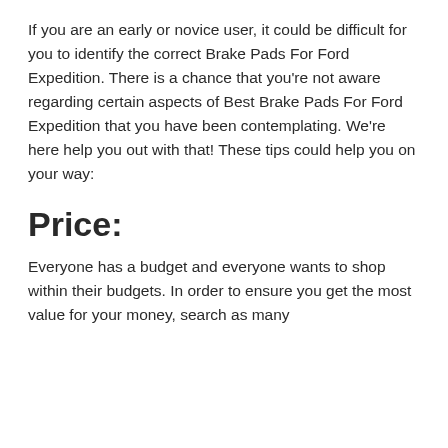If you are an early or novice user, it could be difficult for you to identify the correct Brake Pads For Ford Expedition. There is a chance that you're not aware regarding certain aspects of Best Brake Pads For Ford Expedition that you have been contemplating. We're here help you out with that! These tips could help you on your way:
Price:
Everyone has a budget and everyone wants to shop within their budgets. In order to ensure you get the most value for your money, search as many